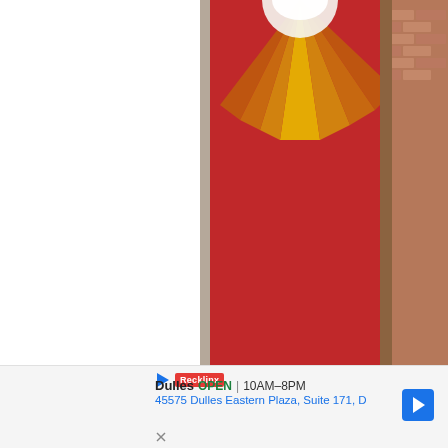[Figure (photo): A church interior scene showing a young boy in a gray suit standing at a podium/lectern on a blue carpeted stage. Behind him is a large red banner/tapestry with a golden sun/ray design (likely depicting the Holy Spirit). Adults including a person in a black shirt appearing to clap and a woman in a teal top wearing a blue face mask stand nearby. Flowers are arranged at the base of the stage. Brick walls are visible in the background.]
Dulles  OPEN  10AM–8PM
45575 Dulles Eastern Plaza, Suite 171, D